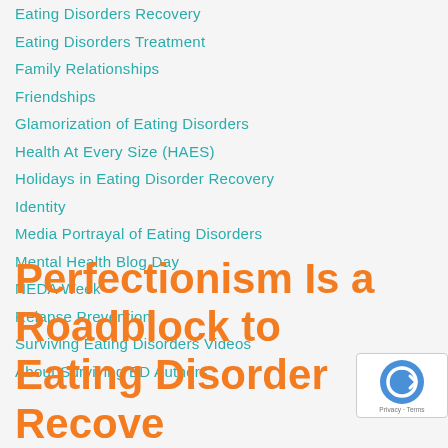Eating Disorders Recovery
Eating Disorders Treatment
Family Relationships
Friendships
Glamorization of Eating Disorders
Health At Every Size (HAES)
Holidays in Eating Disorder Recovery
Identity
Media Portrayal of Eating Disorders
Mental Health Blog Day
NEDA Week
Relapse Prevention
Surviving Eating Disorders Videos
About Surviving ED Authors
Perfectionism Is a Roadblock to Eating Disorder Recovery